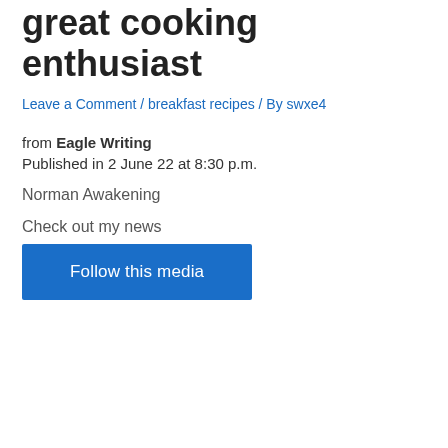From Chris, Bastion Polk, a great cooking enthusiast
Leave a Comment / breakfast recipes / By swxe4
from Eagle Writing
Published in 2 June 22 at 8:30 p.m.
Norman Awakening
Check out my news
Follow this media